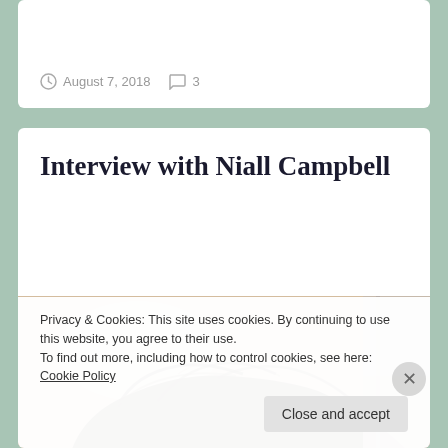August 7, 2018   3
Interview with Niall Campbell
[Figure (photo): Partial top-down view of a person with dark curly hair against a warm beige/cream background]
Privacy & Cookies: This site uses cookies. By continuing to use this website, you agree to their use.
To find out more, including how to control cookies, see here: Cookie Policy
Close and accept